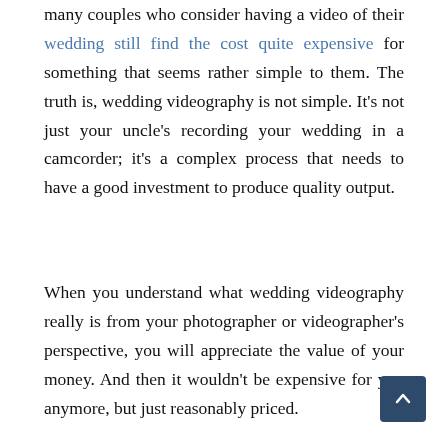many couples who consider having a video of their wedding still find the cost quite expensive for something that seems rather simple to them. The truth is, wedding videography is not simple. It's not just your uncle's recording your wedding in a camcorder; it's a complex process that needs to have a good investment to produce quality output.
When you understand what wedding videography really is from your photographer or videographer's perspective, you will appreciate the value of your money. And then it wouldn't be expensive for you anymore, but just reasonably priced.